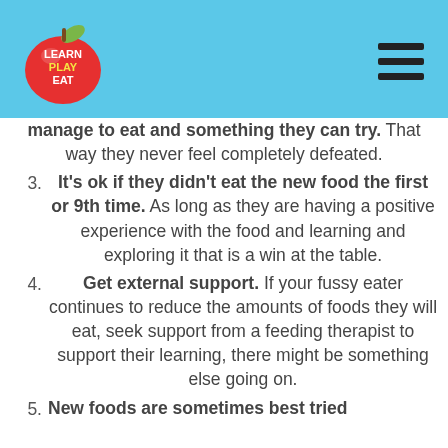[Figure (logo): Learn Play Eat circular logo with apple on light blue background header]
manage to eat and something they can try. That way they never feel completely defeated.
3. It's ok if they didn't eat the new food the first or 9th time. As long as they are having a positive experience with the food and learning and exploring it that is a win at the table.
4. Get external support. If your fussy eater continues to reduce the amounts of foods they will eat, seek support from a feeding therapist to support their learning, there might be something else going on.
5. New foods are sometimes best tried